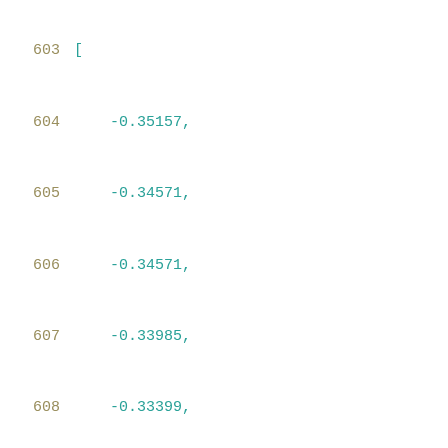603    [
604        -0.35157,
605        -0.34571,
606        -0.34571,
607        -0.33985,
608        -0.33399,
609        -0.31641,
610        -0.30469,
611        -0.30469,
612        -0.30469,
613        -0.31641
614    ],
615    [
616        -0.38672,
617        -0.38085,
618        -0.38085,
619        -0.37499,
620        -0.36913,
621        -0.35743,
622        -0.35741,
623        -0.35741,
624        -0.35742,